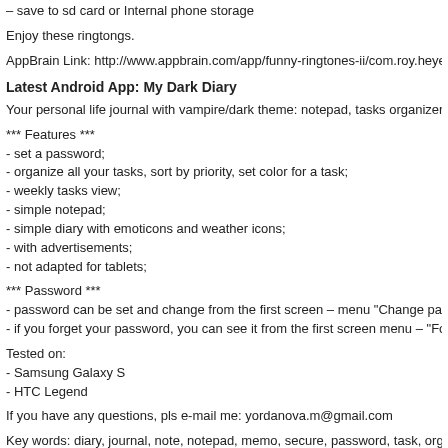– save to sd card or Internal phone storage
Enjoy these ringtongs.
AppBrain Link: http://www.appbrain.com/app/funny-ringtones-ii/com.roy.heyeFunn…
Latest Android App: My Dark Diary
Your personal life journal with vampire/dark theme: notepad, tasks organizer and c…
*** Features ***
- set a password;
- organize all your tasks, sort by priority, set color for a task;
- weekly tasks view;
- simple notepad;
- simple diary with emoticons and weather icons;
- with advertisements;
- not adapted for tablets;
*** Password ***
- password can be set and change from the first screen – menu "Change passwor…
- if you forget your password, you can see it from the first screen menu – "Forgotte…
Tested on:
- Samsung Galaxy S
- HTC Legend
If you have any questions, pls e-mail me: yordanova.m@gmail.com
Key words: diary, journal, note, notepad, memo, secure, password, task, organize…
AppBrain Link: http://www.appbrain.com/app/my-dark-diary/com.soulfromhell.myv…